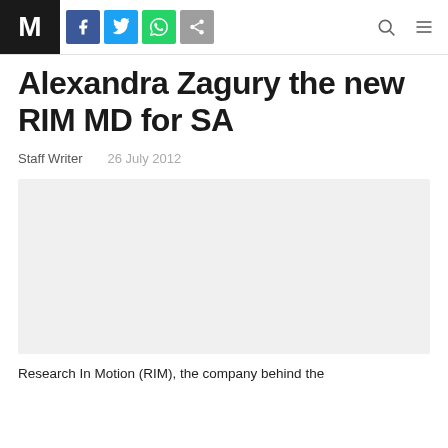M [logo] | Facebook | Twitter | WhatsApp | Share | Search | Menu
Alexandra Zagury the new RIM MD for SA
Staff Writer   26 July 2012
[Figure (photo): Placeholder image (light grey rectangle) for article photo]
Research In Motion (RIM), the company behind the